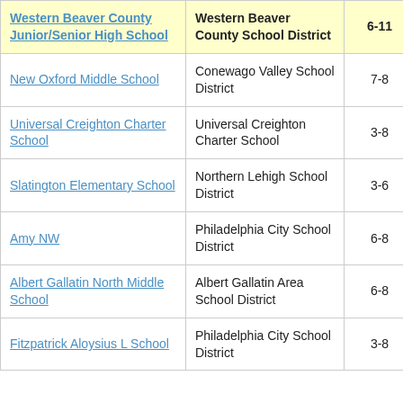| School | District | Grades | Value |
| --- | --- | --- | --- |
| Western Beaver County Junior/Senior High School | Western Beaver County School District | 6-11 | 1. |
| New Oxford Middle School | Conewago Valley School District | 7-8 | -0. |
| Universal Creighton Charter School | Universal Creighton Charter School | 3-8 | -0. |
| Slatington Elementary School | Northern Lehigh School District | 3-6 | -0. |
| Amy NW | Philadelphia City School District | 6-8 | -0. |
| Albert Gallatin North Middle School | Albert Gallatin Area School District | 6-8 | -0. |
| Fitzpatrick Aloysius L School | Philadelphia City School District | 3-8 | -0. |